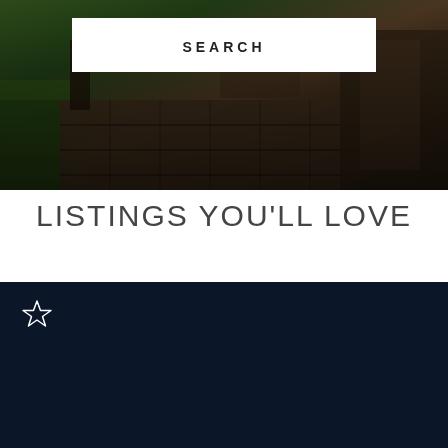[Figure (photo): Dark outdoor patio/deck scene at dusk with stone tiles, wooden furniture and greenery visible at the edges, with a white search bar overlaid at the top center]
LISTINGS YOU'LL LOVE
[Figure (photo): Dark navy blue listing card with a star/favorite icon in the top left corner]